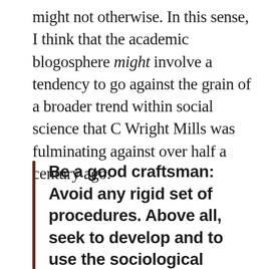might not otherwise. In this sense, I think that the academic blogosphere might involve a tendency to go against the grain of a broader trend within social science that C Wright Mills was fulminating against over half a century ago:
Be a good craftsman: Avoid any rigid set of procedures. Above all, seek to develop and to use the sociological imagination. Avoid the fetishism of method and